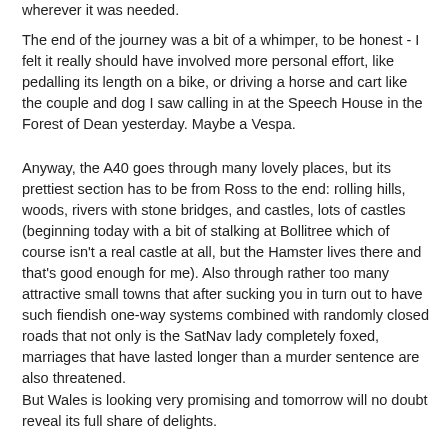wherever it was needed.
The end of the journey was a bit of a whimper, to be honest - I felt it really should have involved more personal effort, like pedalling its length on a bike, or driving a horse and cart like the couple and dog I saw calling in at the Speech House in the Forest of Dean yesterday. Maybe a Vespa.
Anyway, the A40 goes through many lovely places, but its prettiest section has to be from Ross to the end: rolling hills, woods, rivers with stone bridges, and castles, lots of castles (beginning today with a bit of stalking at Bollitree which of course isn't a real castle at all, but the Hamster lives there and that's good enough for me). Also through rather too many attractive small towns that after sucking you in turn out to have such fiendish one-way systems combined with randomly closed roads that not only is the SatNav lady completely foxed, marriages that have lasted longer than a murder sentence are also threatened.
But Wales is looking very promising and tomorrow will no doubt reveal its full share of delights.